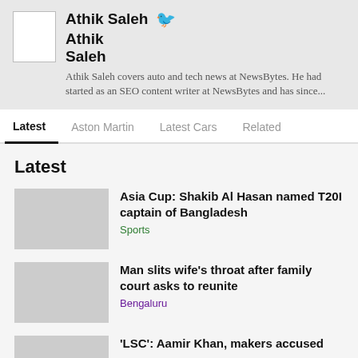[Figure (other): Author card with avatar placeholder, name 'Athik Saleh', Twitter bird icon, and bio text]
Athik Saleh covers auto and tech news at NewsBytes. He had started as an SEO content writer at NewsBytes and has since...
Latest | Aston Martin | Latest Cars | Related
Latest
Asia Cup: Shakib Al Hasan named T20I captain of Bangladesh
Sports
Man slits wife's throat after family court asks to reunite
Bengaluru
'LSC': Aamir Khan, makers accused